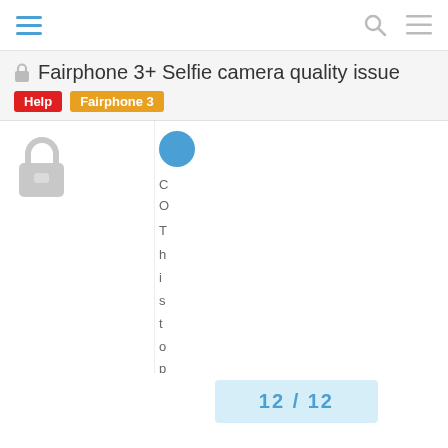Fairphone 3+ Selfie camera quality issue
Fairphone 3+ Selfie camera quality issue
[Figure (screenshot): Forum thread page showing a locked topic titled 'Fairphone 3+ Selfie camera quality issue' with Help and Fairphone 3 tags, a large lock icon, a user avatar, partial post text, and pagination showing 12/12]
12 / 12